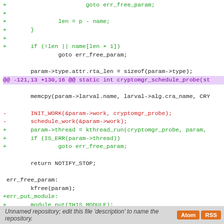[Figure (screenshot): Code diff view showing changes to a C source file, with added lines in green (prefixed with +), removed lines in red (prefixed with -), a hunk header in purple, and context lines in black. Code includes goto statements, len assignment, param->type.attr.rta_len, memcpy call, INIT_WORK and schedule_work (removed), kthread_run and IS_ERR additions, return NOTIFY_STOP, err_free_param label, kfree, +err_put_module label, module_put, err label, and return NOTIFY_OK.]
Unnamed repository; edit this file 'description' to name the repository.